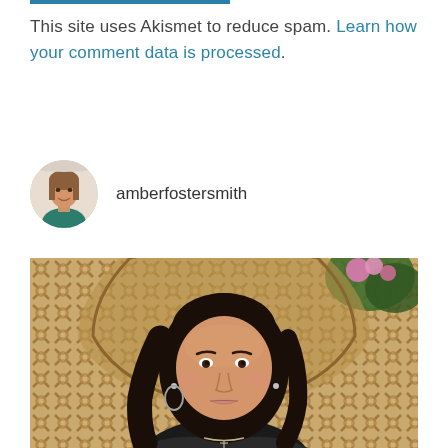This site uses Akismet to reduce spam. Learn how your comment data is processed.
amberfostersmith
[Figure (photo): Portrait photo of a young woman with long dark hair sitting in a wicker/rattan peacock chair, with green plants and pink flowers in the background. She is wearing a dark top and silver earrings.]